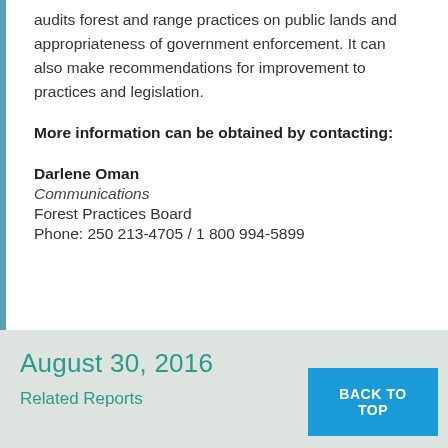audits forest and range practices on public lands and appropriateness of government enforcement. It can also make recommendations for improvement to practices and legislation.
More information can be obtained by contacting:
Darlene Oman
Communications
Forest Practices Board
Phone: 250 213-4705 / 1 800 994-5899
August 30, 2016
Related Reports
BACK TO TOP